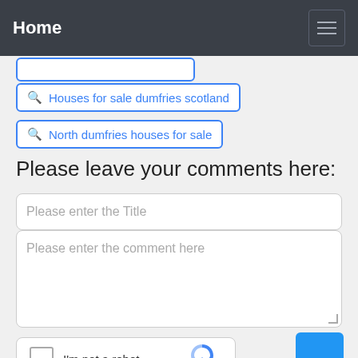Home
Houses for sale dumfries scotland
North dumfries houses for sale
Please leave your comments here:
Please enter the Title
Please enter the comment here
I'm not a robot